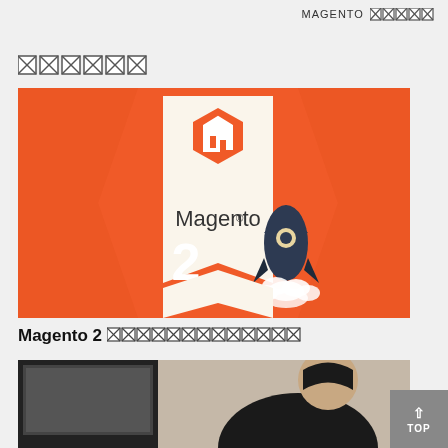MAGENTO ██████
██████
[Figure (illustration): Magento 2 launch promotional image with orange background, Magento logo on a banner/badge shape, large number 2 and a rocket launching with white smoke clouds]
Magento 2 ████████████████
[Figure (photo): Partial photo showing a computer monitor on the left and a person in dark clothing on the right, partially cut off]